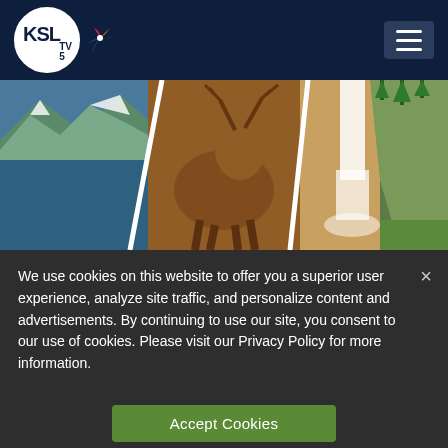KSL TV 5 — Navigation header with logo and menu button
[Figure (photo): Collage of three nature photos: mountain/lake scene on left, elk in golden light in center, Yellowstone waterfall canyon on right]
We use cookies on this website to offer you a superior user experience, analyze site traffic, and personalize content and advertisements. By continuing to use our site, you consent to our use of cookies. Please visit our Privacy Policy for more information.
Accept Cookies